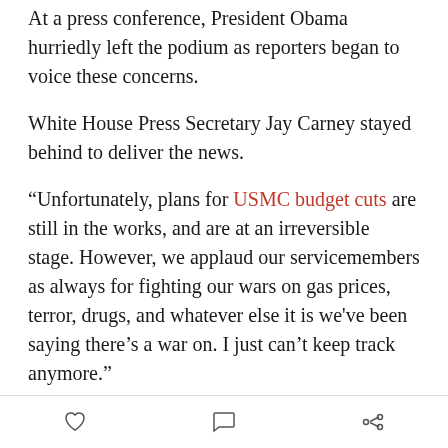At a press conference, President Obama hurriedly left the podium as reporters began to voice these concerns.
White House Press Secretary Jay Carney stayed behind to deliver the news.
“Unfortunately, plans for USMC budget cuts are still in the works, and are at an irreversible stage. However, we applaud our servicemembers as always for fighting our wars on gas prices, terror, drugs, and whatever else it is we've been saying there’s a war on. I just can’t keep track anymore.”
The most recent suggestions by Congressional leaders indicate the next phase of the program may be to power Forward Operating Bases by attaching a vertically-moving level in the latrines, which will attach to a small
[icons: heart, comment, share]